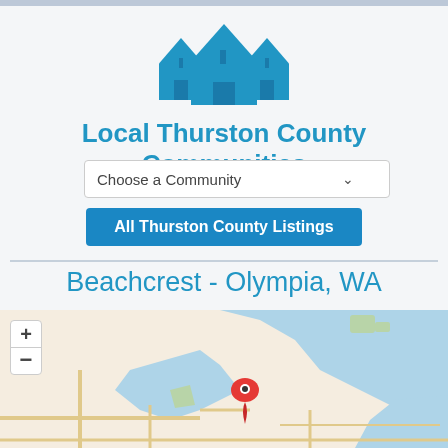[Figure (logo): Three blue house icons representing a real estate community logo]
Local Thurston County Communities
[Figure (other): Dropdown select widget labeled 'Choose a Community' with chevron]
[Figure (other): Button labeled 'All Thurston County Listings']
Beachcrest - Olympia, WA
[Figure (map): Interactive map showing Beachcrest area in Olympia WA with a red location pin marker, water bodies in blue, roads in tan/yellow, and zoom +/- controls on the left]